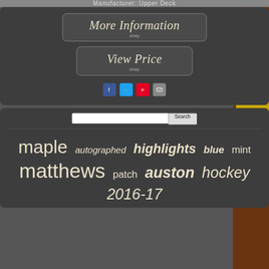Manufacturer: Upper Deck
More Information
ebay
View Price
ebay
[Figure (other): Social sharing icons: Facebook, Twitter, Pinterest, Email]
Search
maple   autographed   highlights   blue   mint   matthews   patch   auston   hockey   2016-17